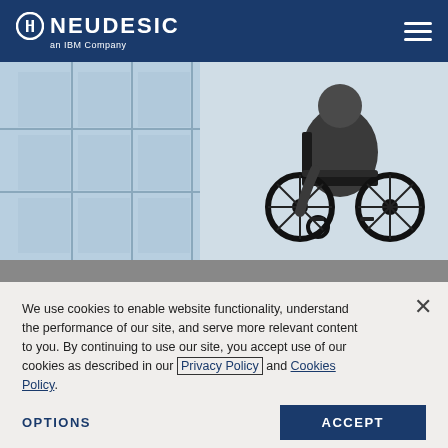Neudesic — an IBM Company
[Figure (photo): Person in a wheelchair viewed from behind, sitting near large windows with blue-tinted glass panes, in a bright indoor space.]
We use cookies to enable website functionality, understand the performance of our site, and serve more relevant content to you. By continuing to use our site, you accept use of our cookies as described in our Privacy Policy and Cookies Policy.
OPTIONS
ACCEPT